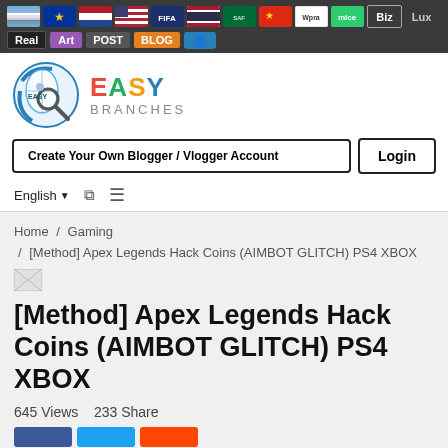Easy Branches navigation bar with language flags (Rainbow/Argentina, EU, Netherlands, USA, FIFA, Thailand, Saudi Arabia, China, Wpra, mice, Biz, Lux) and links (Real, Art, POST, BLOG, user icon)
[Figure (logo): Easy Branches logo with globe/magnifier icon and EASY BRANCHES text]
Create Your Own Blogger / Vlogger Account | Login
English
Home / Gaming / [Method] Apex Legends Hack Coins (AIMBOT GLITCH) PS4 XBOX
[Figure (photo): Broken image placeholder]
[Method] Apex Legends Hack Coins (AIMBOT GLITCH) PS4 XBOX
645 Views   233 Share